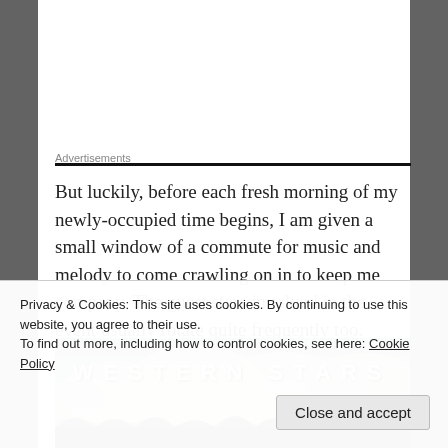Advertisements
But luckily, before each fresh morning of my newly-occupied time begins, I am given a small window of a commute for music and melody to come crawling on in to keep me company. The guest stars involved in the event usually rotate quite frequently too.
[Figure (photo): Album cover or promotional image showing the text 'WESTERN STARS' in large white letters against a dramatic cloudy sky background]
Privacy & Cookies: This site uses cookies. By continuing to use this website, you agree to their use.
To find out more, including how to control cookies, see here: Cookie Policy
Close and accept